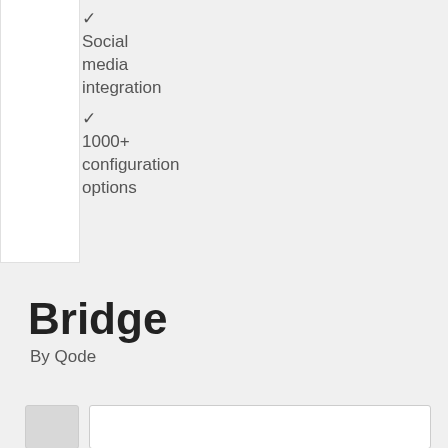✓ Social media integration
✓ 1000+ configuration options
Bridge
By Qode
[Figure (screenshot): Thumbnail images of the Bridge theme]